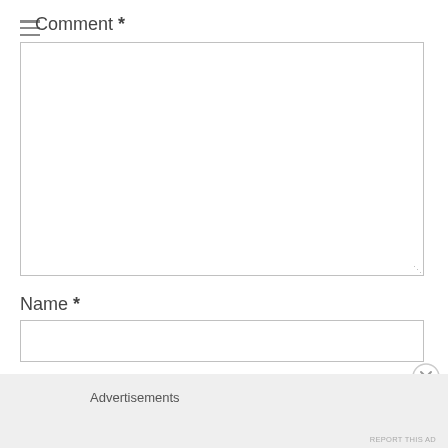Comment *
[Figure (other): Large empty comment textarea input field with resize handle in bottom-right corner]
Name *
[Figure (other): Single-line name text input field]
Advertisements
REPORT THIS AD